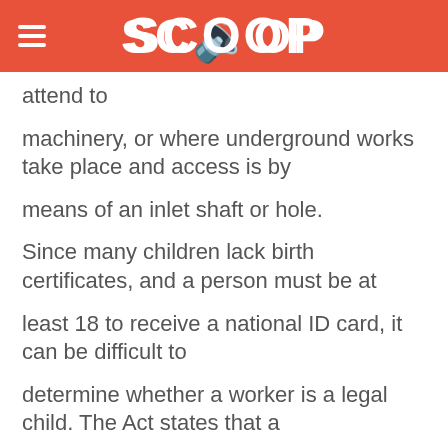SCOOP
attend to
machinery, or where underground works take place and access is by
means of an inlet shaft or hole.
Since many children lack birth certificates, and a person must be at
least 18 to receive a national ID card, it can be difficult to
determine whether a worker is a legal child. The Act states that a
Court may determine a dispute as to the true age of the child
employed. Where it is not possible to get evidence of true age, the